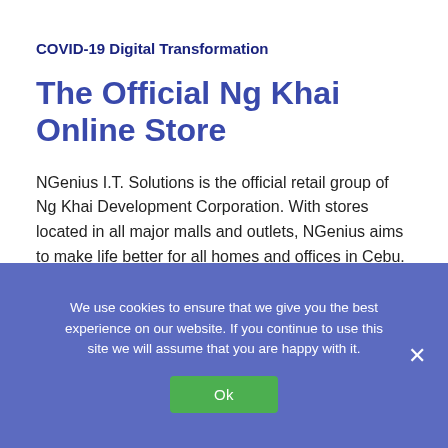COVID-19 Digital Transformation
The Official Ng Khai Online Store
NGenius I.T. Solutions is the official retail group of Ng Khai Development Corporation. With stores located in all major malls and outlets, NGenius aims to make life better for all homes and offices in Cebu.
For all your technology needs, visit one of our stores today!
We use cookies to ensure that we give you the best experience on our website. If you continue to use this site we will assume that you are happy with it.